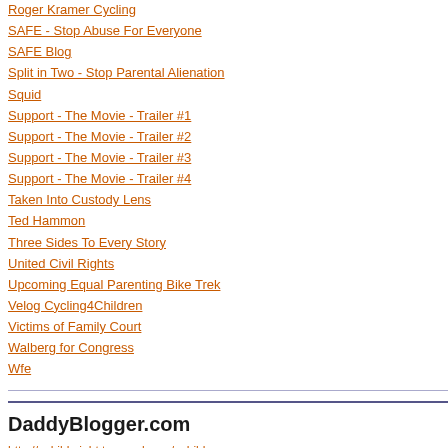Roger Kramer Cycling
SAFE - Stop Abuse For Everyone
SAFE Blog
Split in Two - Stop Parental Alienation
Squid
Support - The Movie - Trailer #1
Support - The Movie - Trailer #2
Support - The Movie - Trailer #3
Support - The Movie - Trailer #4
Taken Into Custody Lens
Ted Hammon
Three Sides To Every Story
United Civil Rights
Upcoming Equal Parenting Bike Trek
Velog Cycling4Children
Victims of Family Court
Walberg for Congress
Wfe
DaddyBlogger.com
http://achildsright.typepad.com/achilds 2013-2014-equal-parenting-bill-hb-
Digg This! • Share on Facebook • AddThis! • feed • Twit This! • Add to Mixx! • Google Bo... Yahoo! Bookmarks • Add to Simpy
Permalink | Comments (0) | TrackBack (0)
August 07, 2008
MICHIGAN JUDICIAL C... LANSING TO DC IN SU...
[Figure (photo): Photo showing a building with political campaign signage featuring large blue letters 'BRI' with yellow border, green banner, and text 'Looking to Create a B...' with a person visible at bottom]